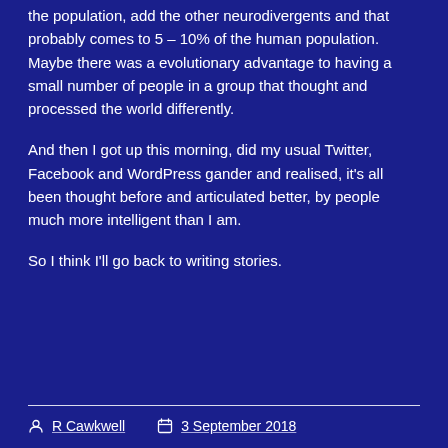the population, add the other neurodivergents and that probably comes to 5 – 10% of the human population. Maybe there was a evolutionary advantage to having a small number of people in a group that thought and processed the world differently.
And then I got up this morning, did my usual Twitter, Facebook and WordPress gander and realised, it's all been thought before and articulated better, by people much more intelligent than I am.
So I think I'll go back to writing stories.
R Cawkwell   3 September 2018